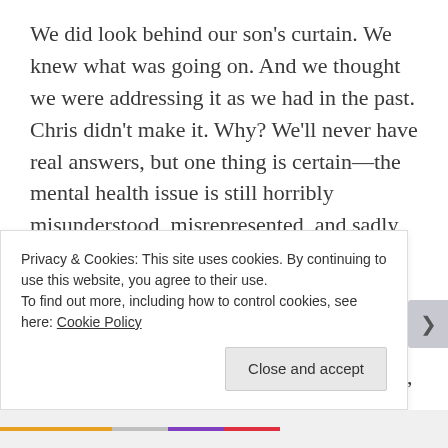We did look behind our son's curtain. We knew what was going on. And we thought we were addressing it as we had in the past. Chris didn't make it. Why? We'll never have real answers, but one thing is certain—the mental health issue is still horribly misunderstood, misrepresented, and sadly maligned.
No one could have fought harder than Chris. His courage and strength in the face of all his pain faltered, and in that faltering, he made a terrible decision. One that cost him, and those who love him, his life. We can eradicate heroin from society, jail every dealer who ever dealt
Privacy & Cookies: This site uses cookies. By continuing to use this website, you agree to their use.
To find out more, including how to control cookies, see here: Cookie Policy